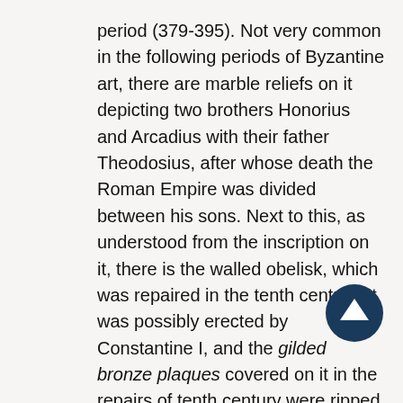period (379-395). Not very common in the following periods of Byzantine art, there are marble reliefs on it depicting two brothers Honorius and Arcadius with their father Theodosius, after whose death the Roman Empire was divided between his sons. Next to this, as understood from the inscription on it, there is the walled obelisk, which was repaired in the tenth century. It was possibly erected by Constantine I, and the gilded bronze plaques covered on it in the repairs of tenth century were ripped off by the forces of the Fourth Crusade.
Column of the Goths, standing at one of the closest point of Gülhane Park to Topkapı Palace, is referred to with this name as